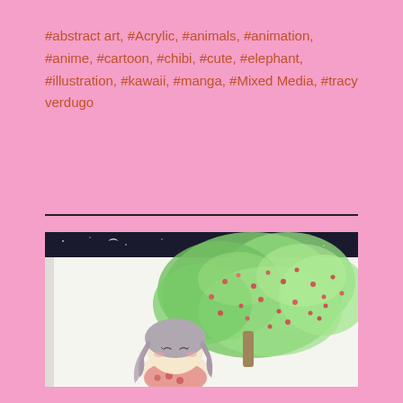#abstract art, #Acrylic, #animals, #animation, #anime, #cartoon, #chibi, #cute, #elephant, #illustration, #kawaii, #manga, #Mixed Media, #tracy verdugo
[Figure (illustration): A colored pencil illustration in a sketchbook showing a chibi/kawaii-style girl with long gray hair and closed eyes, sitting beneath a large green tree with pink flower dots/berries. The sketchbook has a dark/black background at the top suggesting a night sky.]